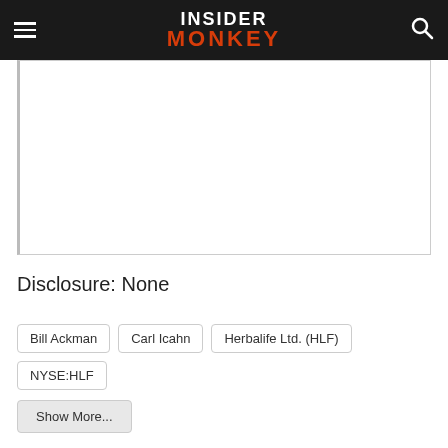INSIDER MONKEY
[Figure (other): Blank white image/advertisement placeholder area with left border line]
Disclosure: None
Bill Ackman
Carl Icahn
Herbalife Ltd. (HLF)
NYSE:HLF
Show More...